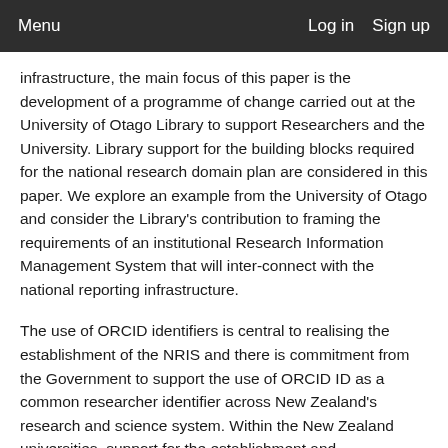Menu   Log in   Sign up
infrastructure, the main focus of this paper is the development of a programme of change carried out at the University of Otago Library to support Researchers and the University. Library support for the building blocks required for the national research domain plan are considered in this paper. We explore an example from the University of Otago and consider the Library's contribution to framing the requirements of an institutional Research Information Management System that will inter-connect with the national reporting infrastructure.
The use of ORCID identifiers is central to realising the establishment of the NRIS and there is commitment from the Government to support the use of ORCID ID as a common researcher identifier across New Zealand's research and science system. Within the New Zealand universities, support for the establishment and administration of an ORCID national consortium has been